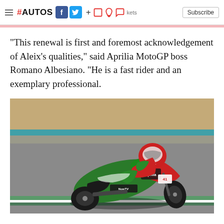#AUTOS [social icons] + [bookmark/bell/chat icons] kets Subscribe
"This renewal is first and foremost acknowledgement of Aleix's qualities," said Aprilia MotoGP boss Romano Albesiano. "He is a fast rider and an exemplary professional.
[Figure (photo): A MotoGP rider on a green and red Aprilia motorcycle leaning into a corner on a race track. The rider wears a red and white KYT helmet and full racing leathers. The bike shows Aprilia branding and NowTV sponsorship.]